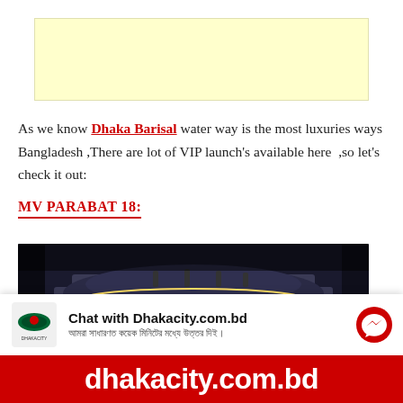[Figure (other): Advertisement banner with light yellow background]
As we know Dhaka Barisal water way is the most luxuries ways Bangladesh ,There are lot of VIP launch's available here  ,so let's check it out:
MV PARABAT 18:
[Figure (photo): Night photo of the MV PARABAT-18 vessel illuminated with yellow and white lights, showing multiple decks decorated with LED lights. The name PARABAT-18 is visible in red lettering.]
[Figure (other): Chat widget bar showing Dhakacity.com.bd logo and Chat with Dhakacity.com.bd text with Bengali subtitle and messenger icon]
[Figure (other): Red bottom banner showing dhakacity.com.bd website text in white]